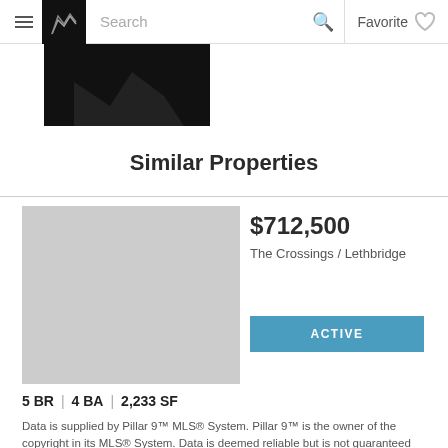≡  [Logo]  Search  🔍  Favorite ♡
[Figure (photo): Partially visible property photo with dark/black upper portion]
Similar Properties
[Figure (photo): Gray placeholder property image]
$712,500
The Crossings / Lethbridge
ACTIVE
5 BR  |  4 BA  |  2,233 SF
Data is supplied by Pillar 9™ MLS® System. Pillar 9™ is the owner of the copyright in its MLS® System. Data is deemed reliable but is not guaranteed accurate by Pillar 9™. The trademarks MLS®, Multiple Listing Service® and the